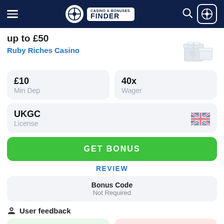Casino & Bonuses Finder – navigation header
up to £50
Ruby Riches Casino
£10
Min Dep
40x
Wager
UKGC
License
GET BONUS
REVIEW
Bonus Code
Not Required
User feedback
0
GOOD
0
BAD